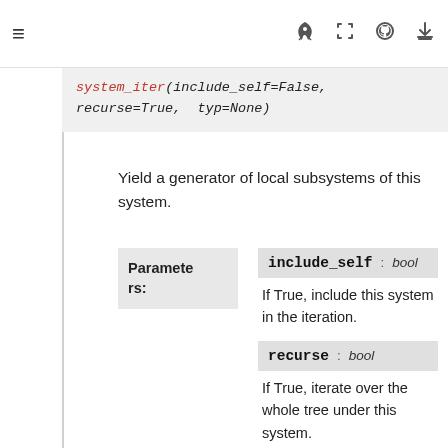≡  🚀  [ ]  GitHub  ⬇
system_iter(include_self=False, recurse=True, typ=None)
Yield a generator of local subsystems of this system.
| Parameters: | Parameter | Type | Description |
| --- | --- | --- | --- |
| Parameters: | include_self | bool | If True, include this system in the iteration. |
|  | recurse | bool | If True, iterate over the whole tree under this system. |
|  | typ | type |  |